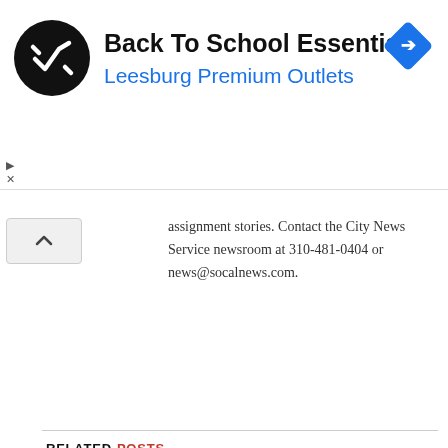[Figure (other): Advertisement banner for Back To School Essentials at Leesburg Premium Outlets. Contains a circular black logo with a checkmark-like symbol, the heading 'Back To School Essentials', subtitle 'Leesburg Premium Outlets' in blue, and a blue diamond navigation icon on the right.]
assignment stories. Contact the City News Service newsroom at 310-481-0404 or news@socalnews.com.
RELATED POSTS